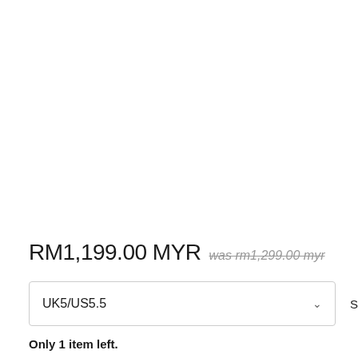RM1,199.00 MYR was rm1,299.00 myr
UK5/US5.5
Size chart
Only 1 item left.